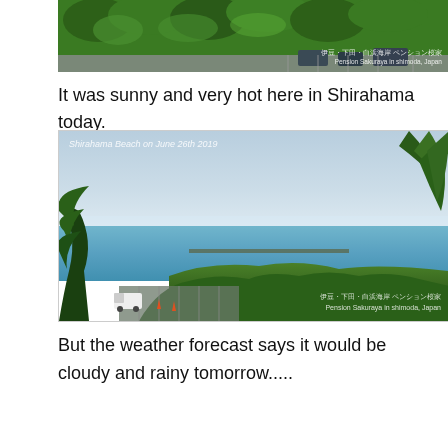[Figure (photo): Aerial view of green trees and a parking area, with Japanese text watermark reading Pension Sakuraya in shimoda, Japan]
It was sunny and very hot here in Shirahama today.
[Figure (photo): View of Shirahama Beach on June 26th 2019 showing the ocean, sky, palm trees, green vegetation and a parking area with a white truck. Watermark reads Pension Sakuraya in shimoda, Japan]
But the weather forecast says it would be cloudy and rainy tomorrow.....